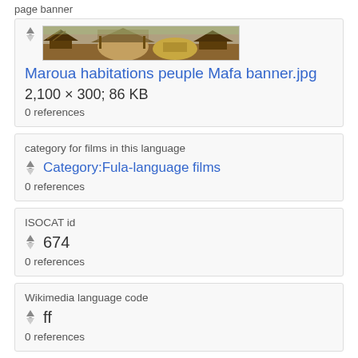page banner
[Figure (photo): Banner photo of Maroua habitations peuple Mafa — thatched huts and structures in a dry landscape]
Maroua habitations peuple Mafa banner.jpg
2,100 × 300; 86 KB
0 references
category for films in this language
Category:Fula-language films
0 references
ISOCAT id
674
0 references
Wikimedia language code
ff
0 references